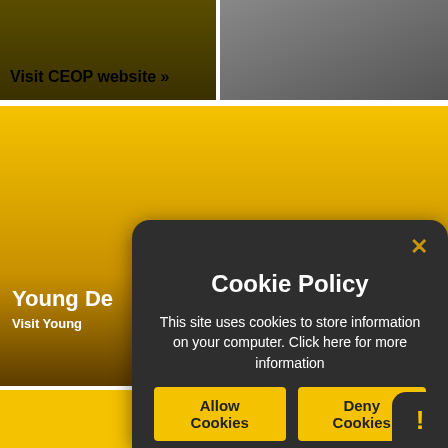Visit CEOP website »
Young Devon
Visit Young Devon web…
Cookie Policy
This site uses cookies to store information on your computer. Click here for more information
Allow Cookies
Deny Cookies